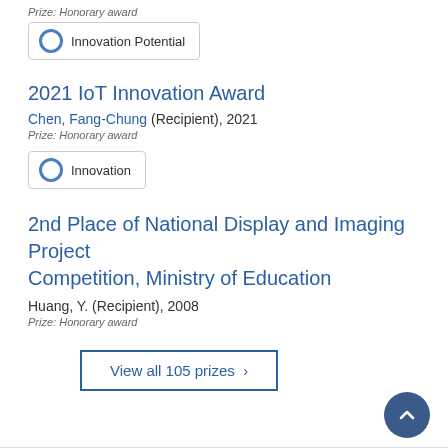Prize: Honorary award
Innovation Potential
2021 IoT Innovation Award
Chen, Fang-Chung (Recipient), 2021
Prize: Honorary award
Innovation
2nd Place of National Display and Imaging Project Competition, Ministry of Education
Huang, Y. (Recipient), 2008
Prize: Honorary award
View all 105 prizes >